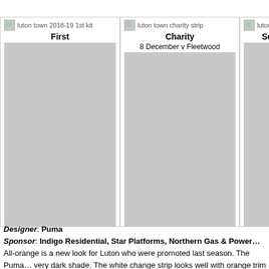[Figure (photo): Luton Town 2018-19 1st kit image placeholder with label 'First']
[Figure (photo): Luton Town charity strip image placeholder with label 'Charity' and date '8 December v Fleetwood']
[Figure (photo): Luton Town kit image (partially visible) with label 'Se...']
Designer: Puma
Sponsor: Indigo Residential, Star Platforms, Northern Gas & Power...
All-orange is a new look for Luton who were promoted last season. The Puma... very dark shade. The white change strip looks well with orange trim and the t...